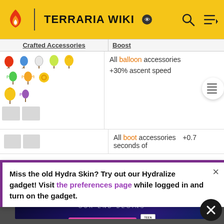TERRARIA WIKI
| Crafted Accessories | Boost |
| --- | --- |
| All balloon accessories (sprites shown) | +30% ascent speed |
| All boot accessories (sprites shown) | +0.7 seconds of |
Miss the old Hydra Skin? Try out our Hydralize gadget! Visit the preferences page while logged in and turn on the gadget.
[Figure (screenshot): Destiny 2 Lightfall advertisement banner: 'OUR END BEGINS' with 'PRE-ORDER NOW' button and ESRB Teen rating]
upgrades